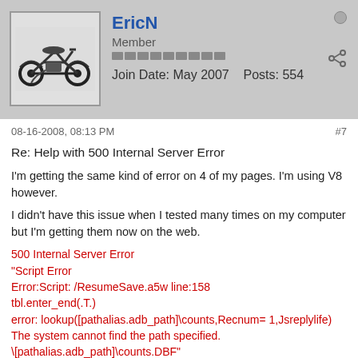EricN
Member
Join Date: May 2007   Posts: 554
08-16-2008, 08:13 PM
#7
Re: Help with 500 Internal Server Error
I'm getting the same kind of error on 4 of my pages. I'm using V8 however.
I didn't have this issue when I tested many times on my computer but I'm getting them now on the web.
500 Internal Server Error
"Script Error
Error:Script: /ResumeSave.a5w line:158
tbl.enter_end(.T.)
error: lookup([pathalias.adb_path]\counts,Recnum= 1,Jsreplylife)
The system cannot find the path specified.
\[pathalias.adb_path]\counts.DBF"
Funny thing is the lookup script error states this lookup resides in my ResumeSave.a5w page. It does NOT, not even close. I don't know where or how it could be thinking this lookup exists in ResumeSave. This lookup does not exist in my other problem pages either. I do use this lookup on other pages however and they